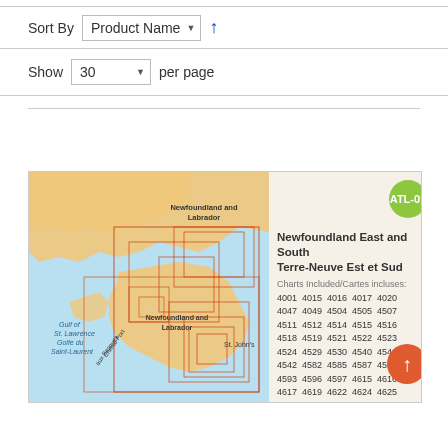Sort By  Product Name  ↑
Show  30  per page
[Figure (map): Map of Newfoundland and Labrador showing nautical chart coverage areas with orange/red rectangles overlaid on a geographic map. Left side shows a regional map; right side shows ATL-01 badge and chart listing for Newfoundland East and South / Terre-Neuve Est et Sud with chart numbers 4001-4886.]